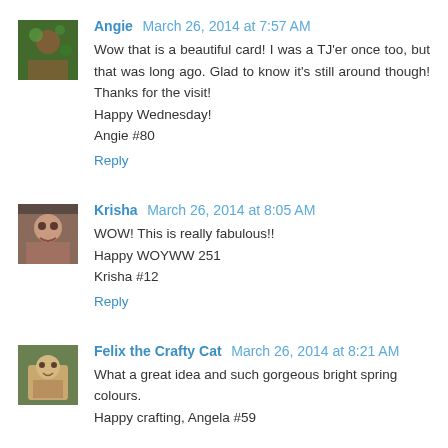Angie March 26, 2014 at 7:57 AM
Wow that is a beautiful card! I was a TJ'er once too, but that was long ago. Glad to know it's still around though! Thanks for the visit!
Happy Wednesday!
Angie #80
Reply
Krisha March 26, 2014 at 8:05 AM
WOW! This is really fabulous!!
Happy WOYWW 251
Krisha #12
Reply
Felix the Crafty Cat March 26, 2014 at 8:21 AM
What a great idea and such gorgeous bright spring colours.
Happy crafting, Angela #59